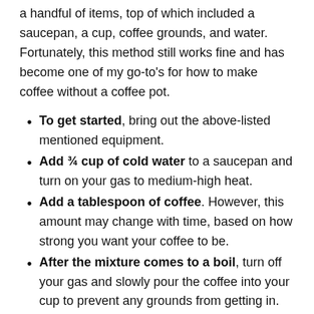a handful of items, top of which included a saucepan, a cup, coffee grounds, and water. Fortunately, this method still works fine and has become one of my go-to's for how to make coffee without a coffee pot.
To get started, bring out the above-listed mentioned equipment.
Add ¾ cup of cold water to a saucepan and turn on your gas to medium-high heat.
Add a tablespoon of coffee. However, this amount may change with time, based on how strong you want your coffee to be.
After the mixture comes to a boil, turn off your gas and slowly pour the coffee into your cup to prevent any grounds from getting in.